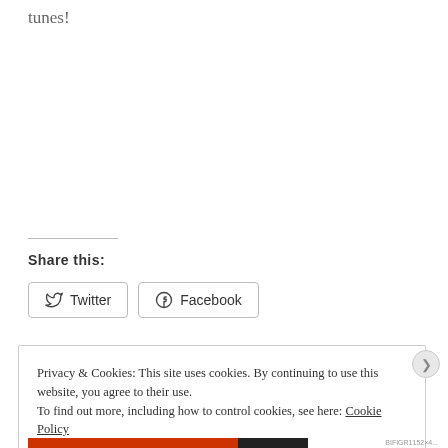tunes!
Share this:
Twitter  Facebook
Privacy & Cookies: This site uses cookies. By continuing to use this website, you agree to their use.
To find out more, including how to control cookies, see here: Cookie Policy
Close and accept